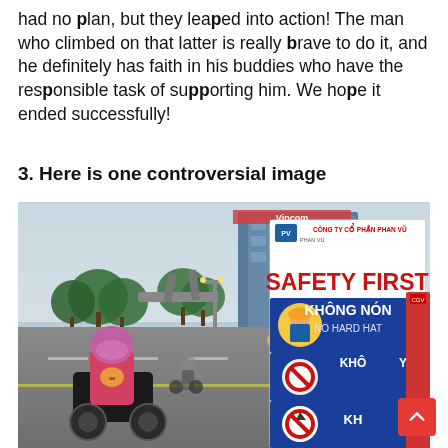had no plan, but they leaped into action! The man who climbed on that latter is really brave to do it, and he definitely has faith in his buddies who have the responsible task of supporting him. We hope it ended successfully!
3. Here is one controversial image
[Figure (photo): Street scene in Vietnam. A person holding a large safety banner reading 'CÔNG TY CỔ PHẦN PHAN VŨ / SAFETY FIRST / KHÔNG NÓN / NO HARD HAT / KHÔ... / KH...' with a construction worker illustration. A woman on a motorcycle in a pink jacket is visible in the foreground. City street with trees, overpass, and buildings in the background.]